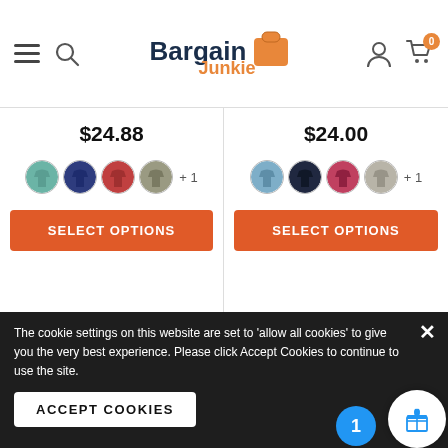[Figure (screenshot): BargainJunkie website header with hamburger menu, search icon, logo, user icon, and cart icon showing 0 items]
$24.88
[Figure (illustration): Four color swatches (teal, navy, red, gray) with shirt thumbnails and +1 more indicator]
[Figure (screenshot): SELECT OPTIONS button in orange]
$24.00
[Figure (illustration): Four color swatches (blue, dark navy, crimson, light gray) with shirt thumbnails and +1 more indicator]
[Figure (screenshot): SELECT OPTIONS button in orange]
[Figure (other): Pagination dots row: 9 dots, first empty, rest filled]
Frequently Bought Together
The cookie settings on this website are set to 'allow all cookies' to give you the very best experience. Please click Accept Cookies to continue to use the site.
[Figure (screenshot): ACCEPT COOKIES button in white]
ADD TO C...
[Figure (other): Blue circle with 1 and gift icon circle in white]